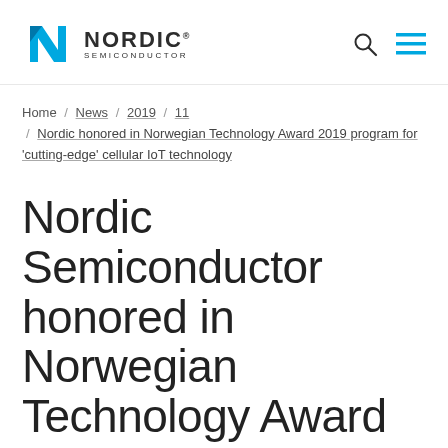[Figure (logo): Nordic Semiconductor logo with blue angular N icon and company name]
Home / News / 2019 / 11 / Nordic honored in Norwegian Technology Award 2019 program for 'cutting-edge' cellular IoT technology
Nordic Semiconductor honored in Norwegian Technology Award 2019 program for ‘cutting-edge’ cellular IoT